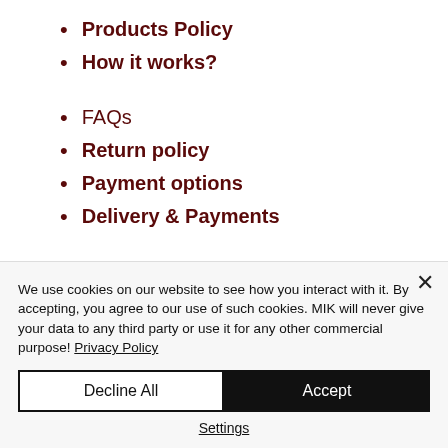Products Policy
How it works?
FAQs
Return policy
Payment options
Delivery & Payments
We use cookies on our website to see how you interact with it. By accepting, you agree to our use of such cookies. MIK will never give your data to any third party or use it for any other commercial purpose! Privacy Policy
Decline All
Accept
Settings